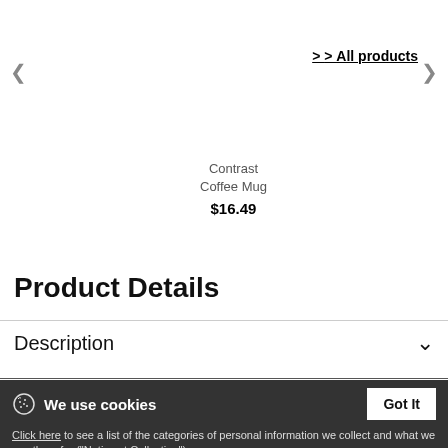> All products
Contrast Coffee Mug
$16.49
Product Details
Description
We use cookies
Click here to see a list of the categories of personal information we collect and what we use them for ("Notice at Collection").
Privacy Policy
Do Not Sell My Personal Information
By using this website, I agree to the Terms and Conditions